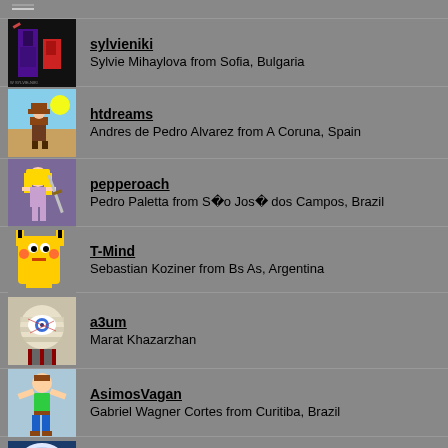sylvieniki — Sylvie Mihaylova from Sofia, Bulgaria
htdreams — Andres de Pedro Alvarez from A Coruna, Spain
pepperoach — Pedro Paletta from São José dos Campos, Brazil
T-Mind — Sebastian Koziner from Bs As, Argentina
a3um — Marat Khazarzhan
AsimosVagan — Gabriel Wagner Cortes from Curitiba, Brazil
up6 — Vinícius de Souza Silva